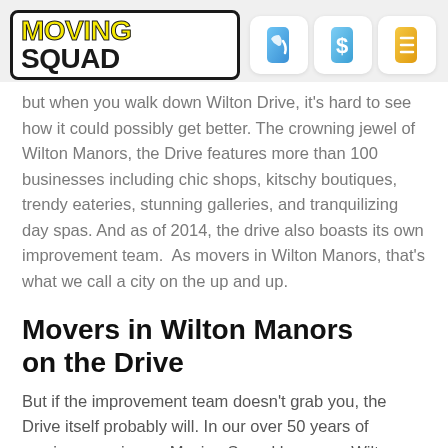MOVING SQUAD
but when you walk down Wilton Drive, it's hard to see how it could possibly get better. The crowning jewel of Wilton Manors, the Drive features more than 100 businesses including chic shops, kitschy boutiques, trendy eateries, stunning galleries, and tranquilizing day spas. And as of 2014, the drive also boasts its own improvement team.  As movers in Wilton Manors, that's what we call a city on the up and up.
Movers in Wilton Manors on the Drive
But if the improvement team doesn't grab you, the Drive itself probably will. In our over 50 years of moving experience, Moving Squad has seen Wilton Drive go from a sleepy small-town road to